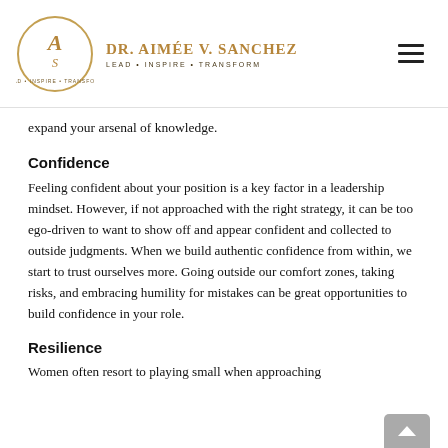DR. AIMÉE V. SANCHEZ — LEAD • INSPIRE • TRANSFORM
expand your arsenal of knowledge.
Confidence
Feeling confident about your position is a key factor in a leadership mindset. However, if not approached with the right strategy, it can be too ego-driven to want to show off and appear confident and collected to outside judgments. When we build authentic confidence from within, we start to trust ourselves more. Going outside our comfort zones, taking risks, and embracing humility for mistakes can be great opportunities to build confidence in your role.
Resilience
Women often resort to playing small when approaching